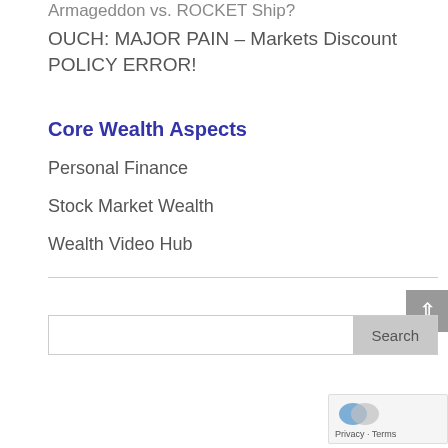Armageddon vs. ROCKET Ship?
OUCH: MAJOR PAIN – Markets Discount POLICY ERROR!
Core Wealth Aspects
Personal Finance
Stock Market Wealth
Wealth Video Hub
[Figure (other): Search bar with text input and Search button]
[Figure (other): Privacy & Terms badge with reCAPTCHA logo]